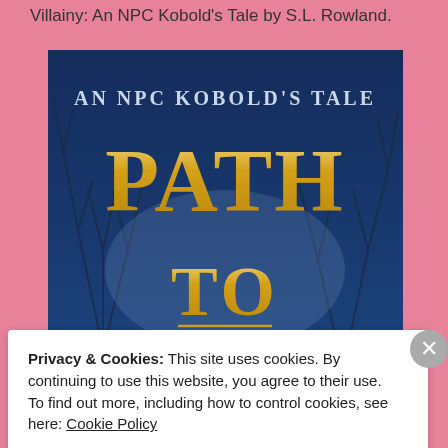Villainy: An NPC Kobold's Tale by S.L. Rowland.
[Figure (photo): Book cover of 'Path to Villainy: An NPC Kobold's Tale' showing golden fantasy lettering on a blue atmospheric background with bare trees.]
Privacy & Cookies: This site uses cookies. By continuing to use this website, you agree to their use.
To find out more, including how to control cookies, see here: Cookie Policy